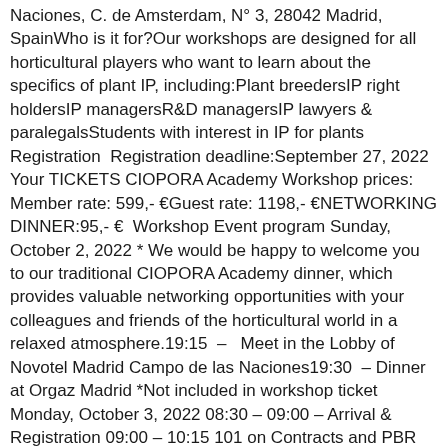Naciones, C. de Amsterdam, N° 3, 28042 Madrid, SpainWho is it for?Our workshops are designed for all horticultural players who want to learn about the specifics of plant IP, including:Plant breedersIP right holdersIP managersR&D managersIP lawyers & paralegalsStudents with interest in IP for plants Registration  Registration deadline:September 27, 2022 Your TICKETS CIOPORA Academy Workshop prices: Member rate: 599,- €Guest rate: 1198,- €NETWORKING DINNER:95,- €  Workshop Event program Sunday, October 2, 2022 * We would be happy to welcome you to our traditional CIOPORA Academy dinner, which provides valuable networking opportunities with your colleagues and friends of the horticultural world in a relaxed atmosphere.19:15  –   Meet in the Lobby of Novotel Madrid Campo de las Naciones19:30  – Dinner at Orgaz Madrid *Not included in workshop ticket Monday, October 3, 2022 08:30 – 09:00 – Arrival & Registration 09:00 – 10:15 101 on Contracts and PBR License Agreements in China (online presentation) Speakers: Alanna Rennie & Andrew Sim, Baker McKenzie This lecture will explore the fundamentals of contracts in China, specifically around PBR licensing agreements, exploring practical considerations important for commercialization and some common misunderstandings and oversights by foreign parties. We will also review the standard but important boilerplate sections that should always be included in the agreement.  10:15 – 10:45 – Networking coffee break 10:45 – 12:00How vain, without the merit, is the name – Variety Denominations and